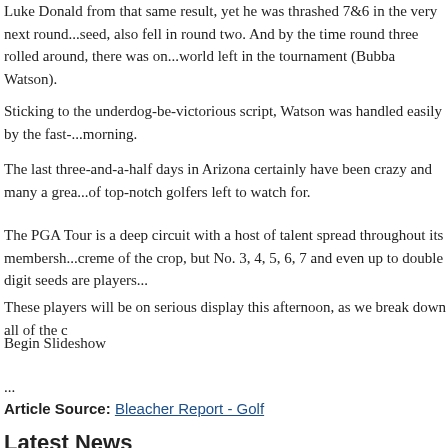Luke Donald from that same result, yet he was thrashed 7&6 in the very next round...seed, also fell in round two. And by the time round three rolled around, there was on...world left in the tournament (Bubba Watson).
Sticking to the underdog-be-victorious script, Watson was handled easily by the fast-...morning.
The last three-and-a-half days in Arizona certainly have been crazy and many a grea...of top-notch golfers left to watch for.
The PGA Tour is a deep circuit with a host of talent spread throughout its membersh...creme of the crop, but No. 3, 4, 5, 6, 7 and even up to double digit seeds are players...
These players will be on serious display this afternoon, as we break down all of the c
Begin Slideshow
...
Article Source: Bleacher Report - Golf
Latest News
Former England Manager Graham Taylor Dies at Age 72
Bruce Arena Names USMNT January Camp Invitees
Karamoko Dembele Makes England U15s Debut After Playing for Scotland
USMNT Watch: Bobby Wood Nets 1st Bundesliga Goal Since September
Rugby Player Bruno Andres Doglioli Banned 3 Years for Tackling Female R